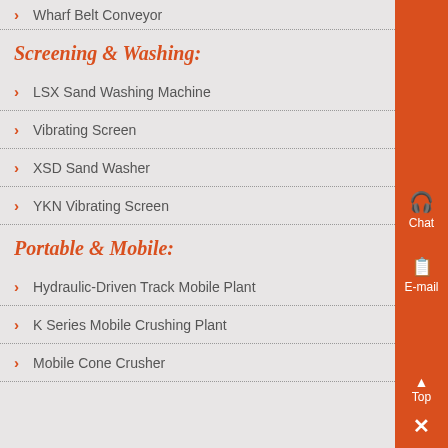Wharf Belt Conveyor
Screening & Washing:
LSX Sand Washing Machine
Vibrating Screen
XSD Sand Washer
YKN Vibrating Screen
Portable & Mobile:
Hydraulic-Driven Track Mobile Plant
K Series Mobile Crushing Plant
Mobile Cone Crusher